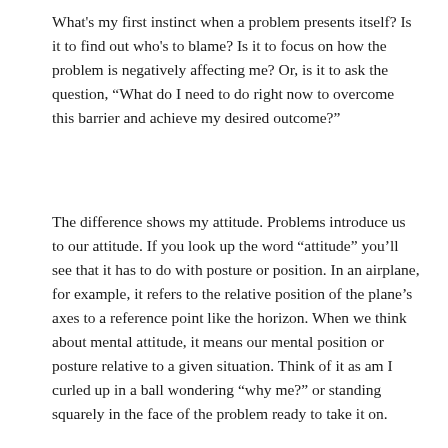What's my first instinct when a problem presents itself? Is it to find out who's to blame? Is it to focus on how the problem is negatively affecting me? Or, is it to ask the question, "What do I need to do right now to overcome this barrier and achieve my desired outcome?"
The difference shows my attitude. Problems introduce us to our attitude. If you look up the word “attitude” you’ll see that it has to do with posture or position. In an airplane, for example, it refers to the relative position of the plane’s axes to a reference point like the horizon. When we think about mental attitude, it means our mental position or posture relative to a given situation. Think of it as am I curled up in a ball wondering “why me?” or standing squarely in the face of the problem ready to take it on.